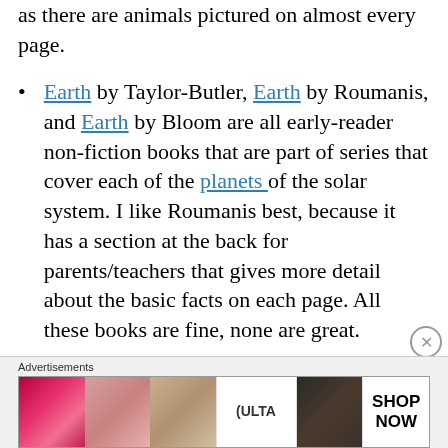as there are animals pictured on almost every page.
Earth by Taylor-Butler, Earth by Roumanis, and Earth by Bloom are all early-reader non-fiction books that are part of series that cover each of the planets of the solar system. I like Roumanis best, because it has a section at the back for parents/teachers that gives more detail about the basic facts on each page. All these books are fine, none are great.
[Figure (other): Advertisement banner showing ULTA beauty products with lips, makeup brush, eyes imagery and SHOP NOW text]